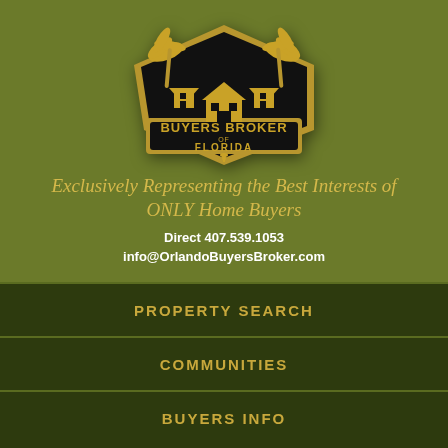[Figure (logo): Buyers Broker of Florida shield logo with black background, gold palm trees and houses, gold text reading BUYERS BROKER OF FLORIDA]
Exclusively Representing the Best Interests of ONLY Home Buyers
Direct 407.539.1053
info@OrlandoBuyersBroker.com
PROPERTY SEARCH
COMMUNITIES
BUYERS INFO